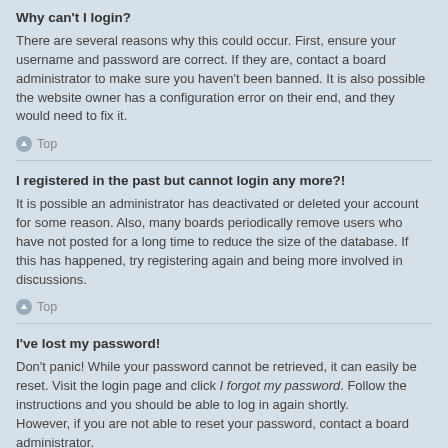Why can't I login?
There are several reasons why this could occur. First, ensure your username and password are correct. If they are, contact a board administrator to make sure you haven't been banned. It is also possible the website owner has a configuration error on their end, and they would need to fix it.
Top
I registered in the past but cannot login any more?!
It is possible an administrator has deactivated or deleted your account for some reason. Also, many boards periodically remove users who have not posted for a long time to reduce the size of the database. If this has happened, try registering again and being more involved in discussions.
Top
I've lost my password!
Don't panic! While your password cannot be retrieved, it can easily be reset. Visit the login page and click I forgot my password. Follow the instructions and you should be able to log in again shortly.
However, if you are not able to reset your password, contact a board administrator.
Top